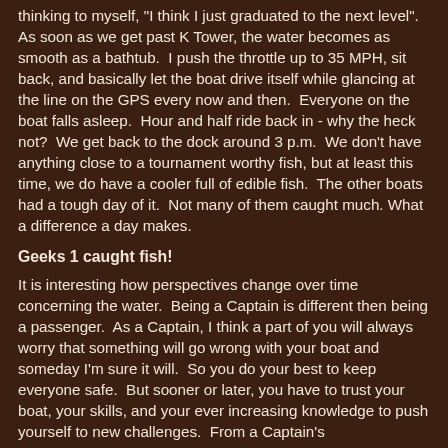thinking to myself, "I think I just graduated to the next level". As soon as we get past K Tower, the water becomes as smooth as a bathtub.  I push the throttle up to 35 MPH, sit back, and basically let the boat drive itself while glancing at the line on the GPS every now and then.  Everyone on the boat falls asleep.  Hour and half ride back in - why the heck not?  We get back to the dock around 3 p.m.  We don't have anything close to a tournament worthy fish, but at least this time, we do have a cooler full of edible fish.  The other boats had a tough day of it.  Not many of them caught much. What a difference a day makes.
Geeks 1 caught fish!
It is interesting how perspectives change over time concerning the water.  Being a Captain is different then being a passenger.  As a Captain, I think a part of you will always worry that something will go wrong with your boat and someday I'm sure it will.  So you do your best to keep everyone safe.  But sooner or later, you have to trust your boat, your skills, and your ever increasing knowledge to push yourself to new challenges.  From a Captain's